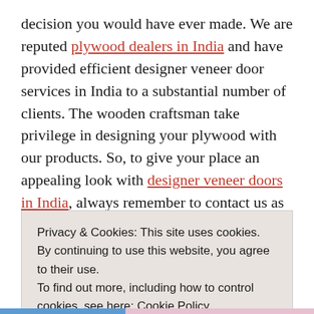decision you would have ever made. We are reputed plywood dealers in India and have provided efficient designer veneer door services in India to a substantial number of clients. The wooden craftsman take privilege in designing your plywood with our products. So, to give your place an appealing look with designer veneer doors in India, always remember to contact us as soon as
Privacy & Cookies: This site uses cookies. By continuing to use this website, you agree to their use.
To find out more, including how to control cookies, see here: Cookie Policy
[Close and accept]